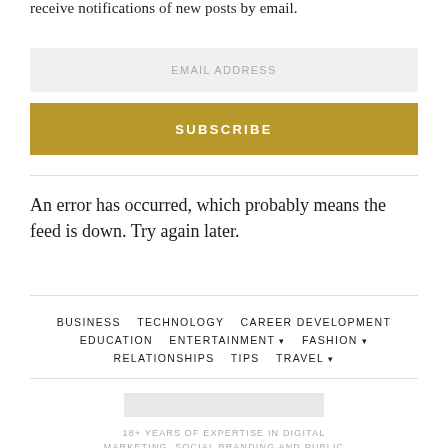receive notifications of new posts by email.
EMAIL ADDRESS
SUBSCRIBE
An error has occurred, which probably means the feed is down. Try again later.
BUSINESS   TECHNOLOGY   CAREER DEVELOPMENT   EDUCATION   ENTERTAINMENT ▾   FASHION ▾   RELATIONSHIPS   TIPS   TRAVEL ▾
[Figure (other): Logo placeholder rectangle, light gray]
18+ YEARS OF EXPERTISE IN DIGITAL MARKETING, SOCIAL BRANDING AND PUBLIC RELATIONS.